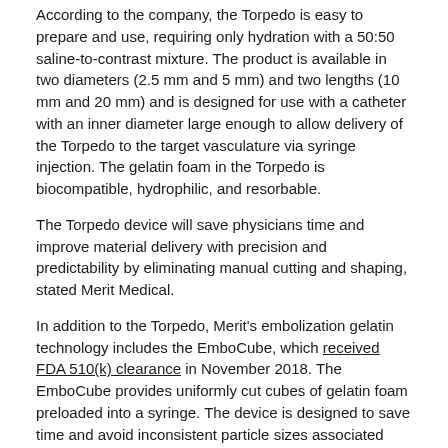According to the company, the Torpedo is easy to prepare and use, requiring only hydration with a 50:50 saline-to-contrast mixture. The product is available in two diameters (2.5 mm and 5 mm) and two lengths (10 mm and 20 mm) and is designed for use with a catheter with an inner diameter large enough to allow delivery of the Torpedo to the target vasculature via syringe injection. The gelatin foam in the Torpedo is biocompatible, hydrophilic, and resorbable.
The Torpedo device will save physicians time and improve material delivery with precision and predictability by eliminating manual cutting and shaping, stated Merit Medical.
In addition to the Torpedo, Merit's embolization gelatin technology includes the EmboCube, which received FDA 510(k) clearance in November 2018. The EmboCube provides uniformly cut cubes of gelatin foam preloaded into a syringe. The device is designed to save time and avoid inconsistent particle sizes associated with manual preparation of gelatin foam sheets.
Featured Video
Valiant Navion™ Thoracic Stent Graft System